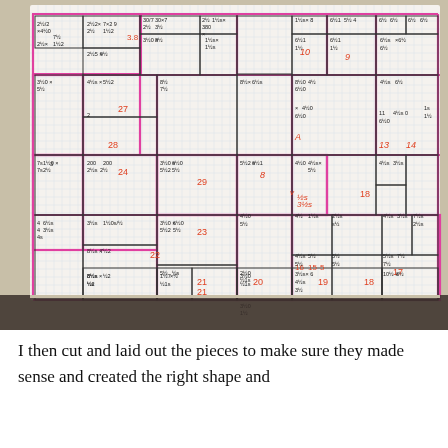[Figure (photo): A handwritten floor plan or cutting layout on grid paper, with numerous rectangles drawn in black pen and annotated with dimensions and numbers. Pink/magenta lines highlight certain sections. Numbers in red/orange indicate area or sequence numbers (e.g., 27, 28, 38, 24, 29, 18, 22, 21, 20, 19, 18, 17, 16, 15, 14, 13, etc.). Dimensions written in blue/black ink throughout.]
I then cut and laid out the pieces to make sure they made sense and created the right shape and